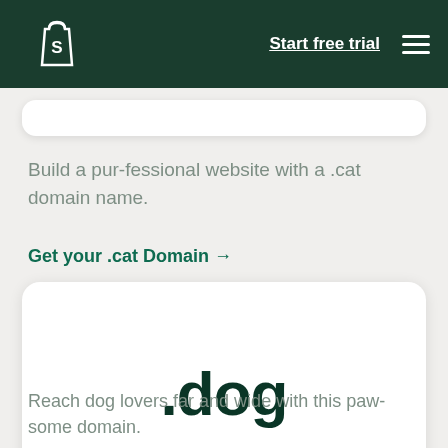Start free trial
Build a pur-fessional website with a .cat domain name.
Get your .cat Domain →
[Figure (other): White card displaying the .dog domain name in large dark green bold text]
Reach dog lovers far and wide with this paw-some domain.